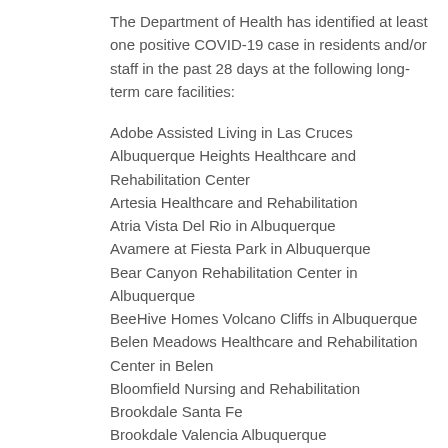The Department of Health has identified at least one positive COVID-19 case in residents and/or staff in the past 28 days at the following long-term care facilities:
Adobe Assisted Living in Las Cruces
Albuquerque Heights Healthcare and Rehabilitation Center
Artesia Healthcare and Rehabilitation
Atria Vista Del Rio in Albuquerque
Avamere at Fiesta Park in Albuquerque
Bear Canyon Rehabilitation Center in Albuquerque
BeeHive Homes Volcano Cliffs in Albuquerque
Belen Meadows Healthcare and Rehabilitation Center in Belen
Bloomfield Nursing and Rehabilitation
Brookdale Santa Fe
Brookdale Valencia Albuquerque
Colibas Somecrest Nursing and Rehabilitation